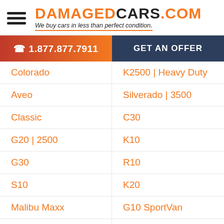DAMAGEDCARS.COM — We buy cars in less than perfect condition.
1.877.877.7911
GET AN OFFER
Colorado
K2500 | Heavy Duty
Aveo
Silverado | 3500
Classic
C30
G20 | 2500
K10
G30
R10
S10
K20
Malibu Maxx
G10 SportVan
Venture
Impala Limited